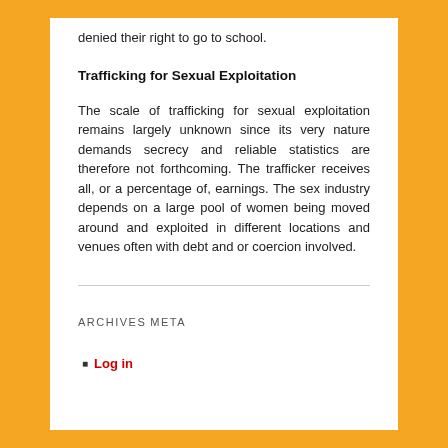denied their right to go to school.
Trafficking for Sexual Exploitation
The scale of trafficking for sexual exploitation remains largely unknown since its very nature demands secrecy and reliable statistics are therefore not forthcoming. The trafficker receives all, or a percentage of, earnings. The sex industry depends on a large pool of women being moved around and exploited in different locations and venues often with debt and or coercion involved.
ARCHIVES
META
Log in